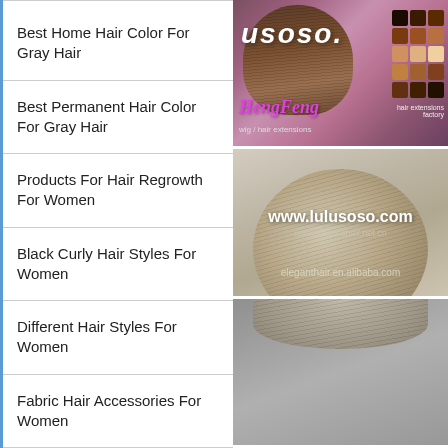Best Home Hair Color For Gray Hair
Best Permanent Hair Color For Gray Hair
Products For Hair Regrowth For Women
Black Curly Hair Styles For Women
Different Hair Styles For Women
Fabric Hair Accessories For Women
[Figure (photo): Hair piece/wig product photo with HengFeng branding and color swatches, lulusoso.com watermark]
[Figure (photo): Blonde/ash hair bun product photo with www.lulusoso.com watermark and eleganthair.en.alibaba.com text]
[Figure (photo): Partial hair product photo at bottom, cut off]